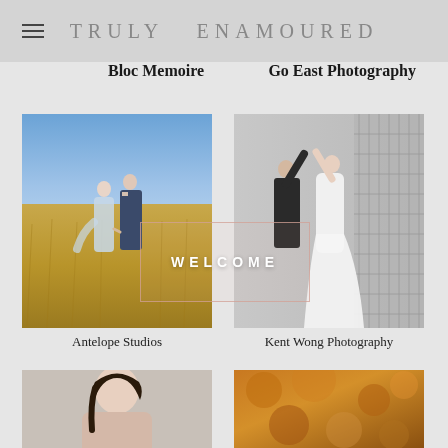TRULY ENAMOURED
Bloc Memoire
Go East Photography
[Figure (photo): Wedding couple walking through golden grass field, outdoor photo]
[Figure (photo): Wedding couple posing against white architectural wall, indoor/outdoor photo]
WELCOME
Antelope Studios
Kent Wong Photography
[Figure (photo): Partial view of woman portrait, bottom cropped]
[Figure (photo): Warm golden toned outdoor nature photo, partially visible]